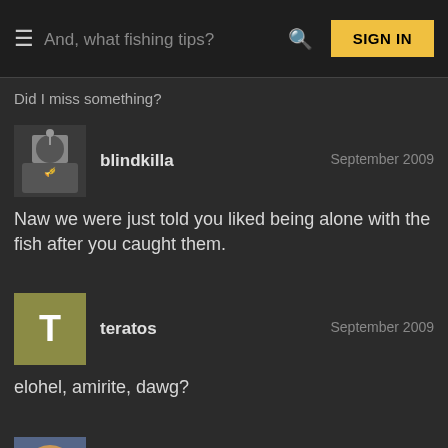And, what fishing tips? ☰ 🔍 SIGN IN
Did I miss something?
blindkilla September 2009
Naw we were just told you liked being alone with the fish after you caught them.
teratos September 2009
elohel, amirite, dawg?
Ensign Munro September 2009
blindkilla September 2009
Naw we were just told you liked being alone